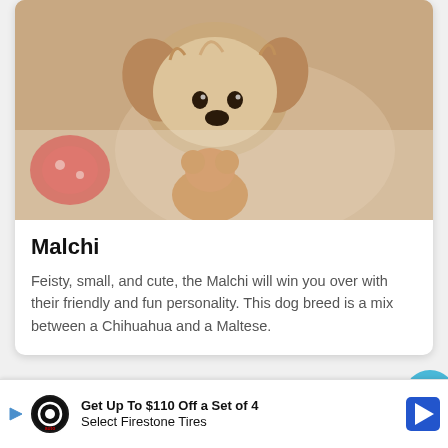[Figure (photo): A small fluffy Malchi puppy with light brown and white fur sitting among stuffed animal toys]
Malchi
Feisty, small, and cute, the Malchi will win you over with their friendly and fun personality. This dog breed is a mix between a Chihuahua and a Maltese.
[Figure (photo): A dog lying on its back on grass, playing or resting outdoors]
Get Up To $110 Off a Set of 4 Select Firestone Tires